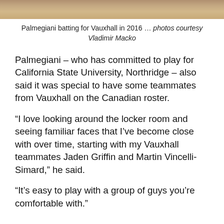[Figure (photo): Cropped photo of Palmegiani batting for Vauxhall in 2016, showing a baseball field with reddish dirt]
Palmegiani batting for Vauxhall in 2016 … photos courtesy Vladimir Macko
Palmegiani – who has committed to play for California State University, Northridge – also said it was special to have some teammates from Vauxhall on the Canadian roster.
“I love looking around the locker room and seeing familiar faces that I’ve become close with over time, starting with my Vauxhall teammates Jaden Griffin and Martin Vincelli-Simard,” he said.
“It’s easy to play with a group of guys you’re comfortable with."